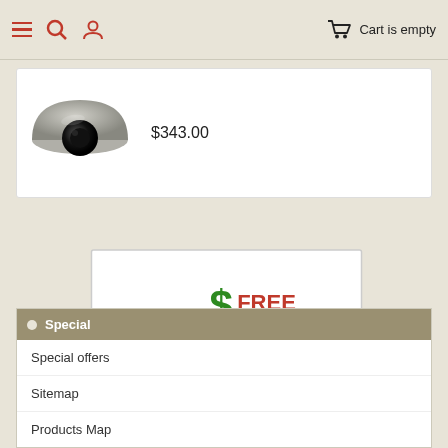Cart is empty
$343.00
[Figure (infographic): Free shipping on orders over $100.00. Offer excludes Safes & Vaults. Illustrated with green dollar signs bursting from a cardboard box.]
Special
Special offers
Sitemap
Products Map